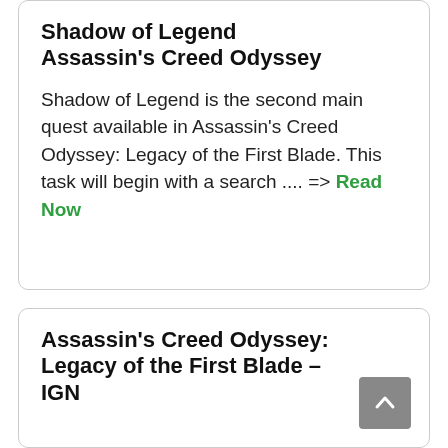Shadow of Legend Assassin's Creed Odyssey
Shadow of Legend is the second main quest available in Assassin's Creed Odyssey: Legacy of the First Blade. This task will begin with a search .... => Read Now
Assassin's Creed Odyssey: Legacy of the First Blade – IGN